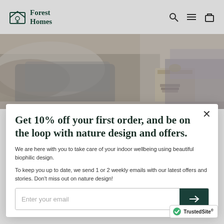Forest Homes
[Figure (photo): Bedroom interior photo with bed, grey blankets, and nightstand with books]
NATURE INSPIRED MURALS
Enjoy everyday life surrounded
Get 10% off your first order, and be on the loop with nature design and offers.
We are here with you to take care of your indoor wellbeing using beautiful biophilic design.
To keep you up to date, we send 1 or 2 weekly emails with our latest offers and stories. Don't miss out on nature design!
Enter your email
[Figure (logo): TrustedSite badge with green checkmark]